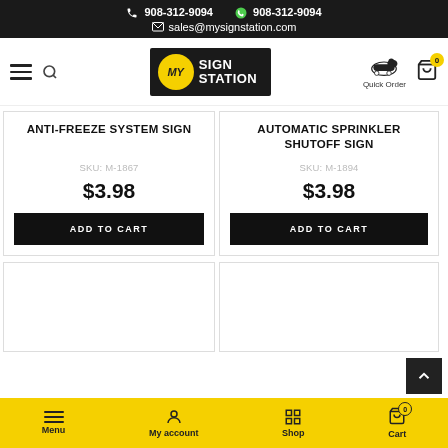908-312-9094  908-312-9094  sales@mysignstation.com
[Figure (logo): My Sign Station logo with yellow circle MY and white text SIGN STATION on dark background]
ANTI-FREEZE SYSTEM SIGN
SKU: M-1867
$3.98
ADD TO CART
AUTOMATIC SPRINKLER SHUTOFF SIGN
SKU: M-1894
$3.98
ADD TO CART
Menu  My account  Shop  Cart